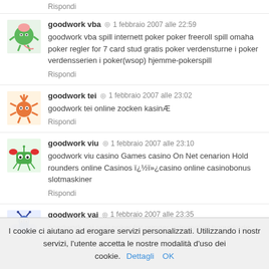Rispondi
goodwork vba  ◎  1 febbraio 2007 alle 22:59
goodwork vba spill internett poker poker freeroll spill omaha poker regler for 7 card stud gratis poker verdensturne i poker verdensserien i poker(wsop) hjemme-pokerspill
Rispondi
goodwork tei  ◎  1 febbraio 2007 alle 23:02
goodwork tei online zocken kasinÆ
Rispondi
goodwork viu  ◎  1 febbraio 2007 alle 23:10
goodwork viu casino Games casino On Net cenarion Hold rounders online Casinos ï¿½ï»¿casino online casinobonus slotmaskiner
Rispondi
goodwork vaj  ◎  1 febbraio 2007 alle 23:35
goodwork vaj spill poker for penger videopoker bonuskode-poker
I cookie ci aiutano ad erogare servizi personalizzati. Utilizzando i nostri servizi, l'utente accetta le nostre modalità d'uso dei cookie. Dettagli  OK